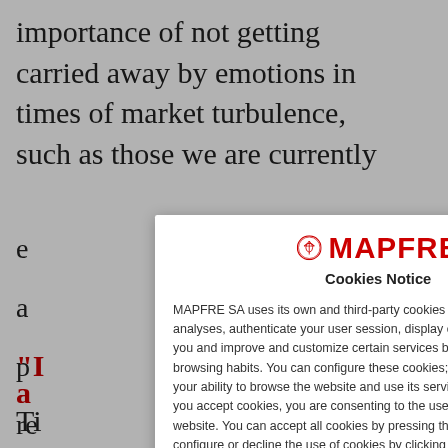importance of not getting carried away by emotions in times of market turbulence, such as those we are currently
[Figure (screenshot): MAPFRE Cookies Notice modal dialog overlay on top of a webpage. The modal contains the MAPFRE logo (red circular emblem and red bold wordmark 'MAPFRE'), a 'Cookies Notice' heading, body text explaining cookie usage by MAPFRE SA, links to 'Configure cookies', 'Privacy Policy', and 'Cookies Policy', and a red Accept button at the bottom.]